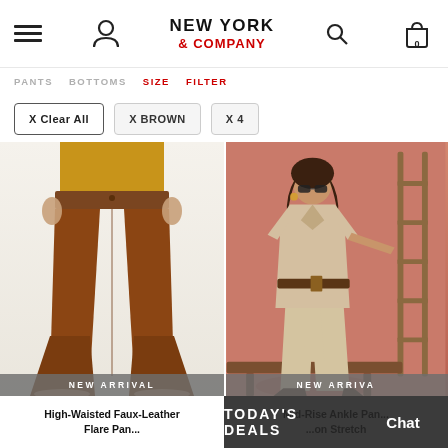NEW YORK & COMPANY
X Clear All  X BROWN  X 4
[Figure (photo): Brown high-waisted faux-leather flare pants on a model against a light background, with NEW ARRIVAL badge]
High-Waisted Faux-Leather Flare Pan...
[Figure (photo): Woman in safari-style beige outfit with brown belt leaning on a ladder against a terracotta/coral wall, with NEW ARRIVAL badge]
Mid-Rise Ankle Pan... ...on Stretch
TODAY'S DEALS
Chat